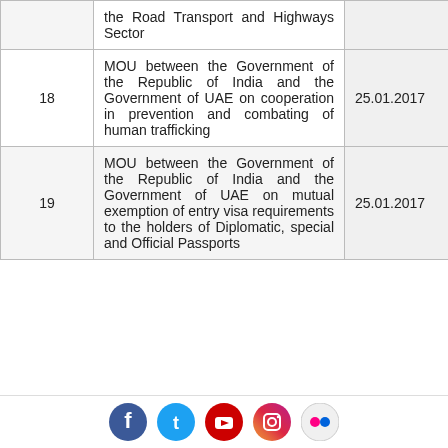| # | Description | Date |
| --- | --- | --- |
|  | the Road Transport and Highways Sector |  |
| 18 | MOU between the Government of the Republic of India and the Government of UAE on cooperation in prevention and combating of human trafficking | 25.01.2017 |
| 19 | MOU between the Government of the Republic of India and the Government of UAE on mutual exemption of entry visa requirements to the holders of Diplomatic, special and Official Passports | 25.01.2017 |
[Figure (other): Social media icons footer: Facebook, Twitter, YouTube, Instagram, Flickr]